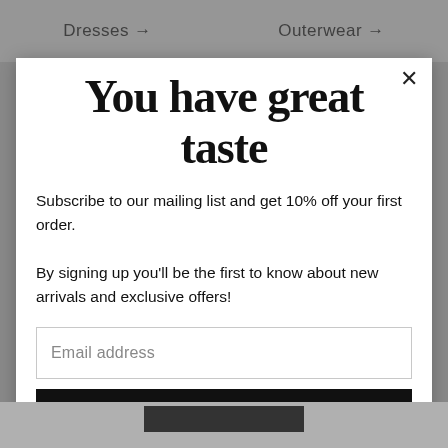Dresses →    Outerwear →
You have great taste
Subscribe to our mailing list and get 10% off your first order.
By signing up you'll be the first to know about new arrivals and exclusive offers!
Email address
Subscribe